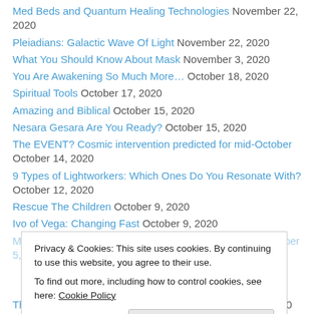Med Beds and Quantum Healing Technologies November 22, 2020
Pleiadians: Galactic Wave Of Light November 22, 2020
What You Should Know About Mask November 3, 2020
You Are Awakening So Much More… October 18, 2020
Spiritual Tools October 17, 2020
Amazing and Biblical October 15, 2020
Nesara Gesara Are You Ready? October 15, 2020
The EVENT? Cosmic intervention predicted for mid-October October 14, 2020
9 Types of Lightworkers: Which Ones Do You Resonate With? October 12, 2020
Rescue The Children October 9, 2020
Ivo of Vega: Changing Fast October 9, 2020
Privacy & Cookies: This site uses cookies. By continuing to use this website, you agree to their use. To find out more, including how to control cookies, see here: Cookie Policy
The right direction for you: A Saul Message August 27, 2020